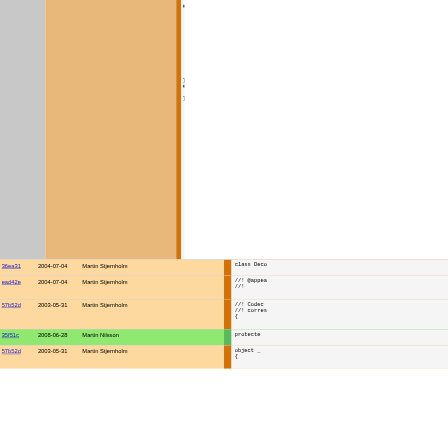[Figure (screenshot): Code blame/annotate view showing git commit history alongside source code. Top section shows three columns: left grey column, middle orange column, right orange stripe, and code panel showing C++ code with #if 0, foreach, if blocks, #endif. Bottom section shows rows of commits: 36ea31 2004-07-04 Martin Stjernholm with 'class Deco', ead42e 2004-07-04 Martin Stjernholm with '//! @appea //!', 57b52d 2003-05-31 Martin Stjernholm with '//! Codec //! corres {', 35f51c 2008-06-28 Martin Nilsson (green highlight) with 'protecte', 57b52d 2003-05-31 Martin Stjernholm with 'object _']